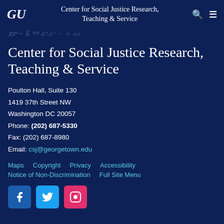GU  Center for Social Justice Research, Teaching & Service
47A° ~ ꩜ 00
Center for Social Justice Research, Teaching & Service
Poulton Hall, Suite 130
1419 37th Street NW
Washington DC 20057
Phone: (202) 687-5330
Fax: (202) 687-8980
Email: csj@georgetown.edu
Maps   Copyright   Privacy   Accessibility   Notice of Non-Discrimination   Full Site Menu
[Figure (other): Social media icons: Facebook, Twitter, Instagram]